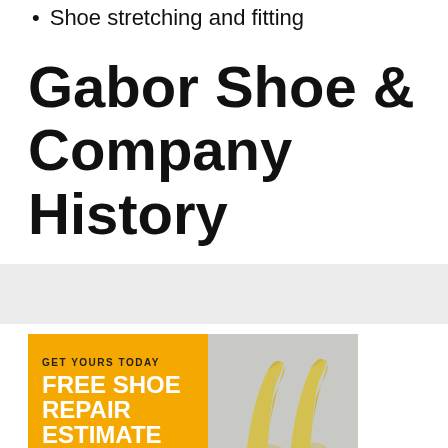Shoe stretching and fitting
Gabor Shoe & Company History
[Figure (infographic): Advertisement banner: yellow/orange left panel with 'GET YOURS TODAY' in small caps and 'FREE SHOE REPAIR ESTIMATE' in large bold white text. Right panel shows a light gray background with a pair of yellow pointed-toe heels photographed from above.]